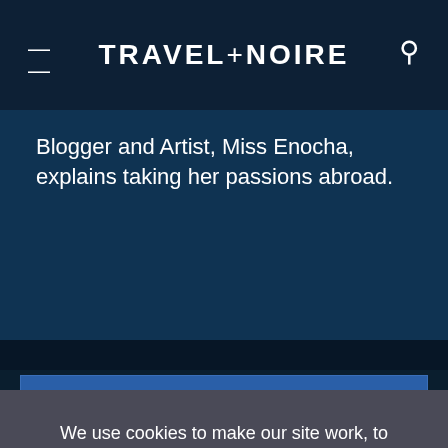TRAVEL+NOIRE
Blogger and Artist, Miss Enocha, explains taking her passions abroad.
We use cookies to make our site work, to understand how it is used, and to tailor advertisements presented on our site. By clicking “Accept”, you agree to us doing so. You can read more by clicking on our privacy policy here.
Accept